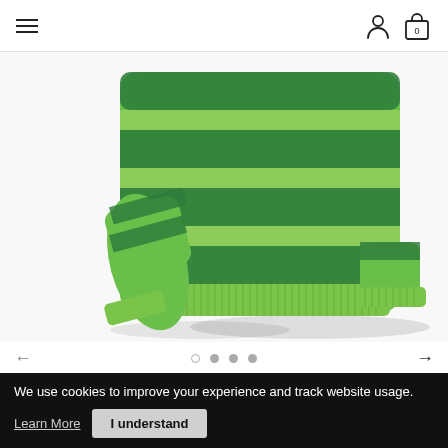Navigation header with hamburger menu, user icon, and shopping bag (0)
[Figure (photo): Green striped knit sweater laid flat, showing the bottom hem and sleeves, on white background]
← (left arrow) ○ • • • → (right arrow) carousel navigation
Casual Sweater
$50.95
We use cookies to improve your experience and track website usage.
Learn More   I understand